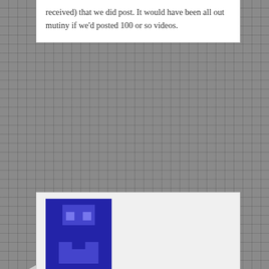received) that we did post. It would have been all out mutiny if we'd posted 100 or so videos.
[Figure (illustration): Blue pixel art avatar/icon representing user Jen]
Jen on February 26, 2010 at 11:52 am said:
Hopefully the people who end up going have a good sense of humour because Rachel jokes around a lot and clearly her joke about Norm was completely missed. If the best candidates were all "hot dudes", should take them